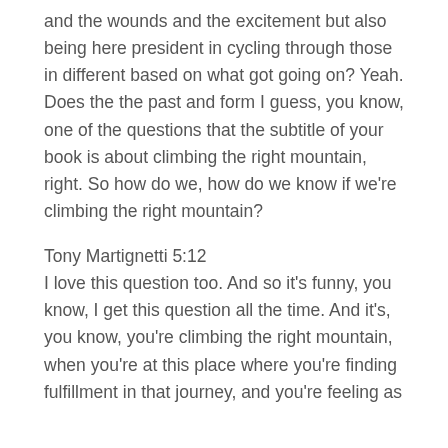and the wounds and the excitement but also being here president in cycling through those in different based on what got going on? Yeah. Does the the past and form I guess, you know, one of the questions that the subtitle of your book is about climbing the right mountain, right. So how do we, how do we know if we're climbing the right mountain?
Tony Martignetti 5:12
I love this question too. And so it's funny, you know, I get this question all the time. And it's, you know, you're climbing the right mountain, when you're at this place where you're finding fulfillment in that journey, and you're feeling as